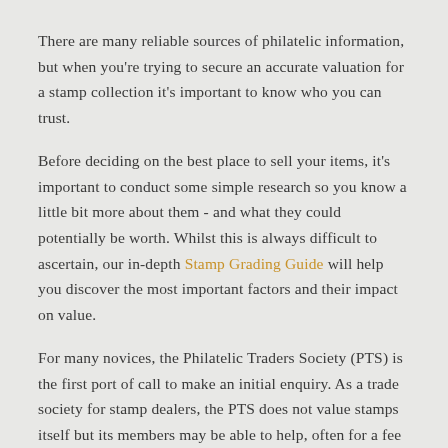There are many reliable sources of philatelic information, but when you're trying to secure an accurate valuation for a stamp collection it's important to know who you can trust.
Before deciding on the best place to sell your items, it's important to conduct some simple research so you know a little bit more about them - and what they could potentially be worth. Whilst this is always difficult to ascertain, our in-depth Stamp Grading Guide will help you discover the most important factors and their impact on value.
For many novices, the Philatelic Traders Society (PTS) is the first port of call to make an initial enquiry. As a trade society for stamp dealers, the PTS does not value stamps itself but its members may be able to help, often for a fee at their discretion.
Free valuations can usually be obtained from high street stamp shops but, unfortunately, many of these have